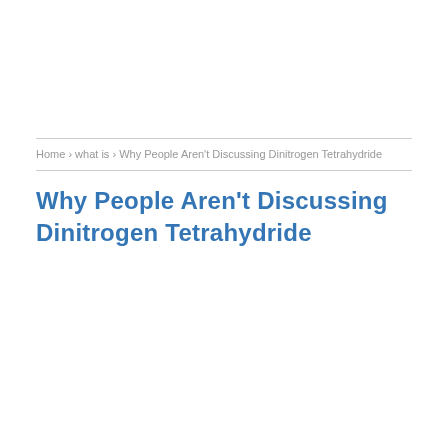Home › what is › Why People Aren't Discussing Dinitrogen Tetrahydride
Why People Aren't Discussing Dinitrogen Tetrahydride